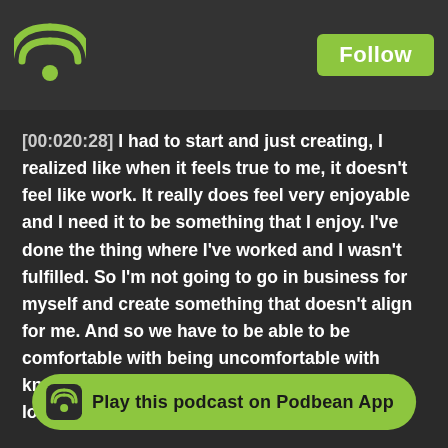[Figure (logo): Podbean green wifi/broadcast logo icon in top-left header]
Follow
[00:020:28] I had to start and just creating, I realized like when it feels true to me, it doesn't feel like work. It really does feel very enjoyable and I need it to be something that I enjoy. I've done the thing where I've worked and I wasn't fulfilled. So I'm not going to go in business for myself and create something that doesn't align for me. And so we have to be able to be comfortable with being uncomfortable with knowing that. Your business now is not gonna look like it will look in five years.
[00:025:21] You know how Chick-fil-A even has the standard... and they have the ... menu. They cha... ndard
Play this podcast on Podbean App